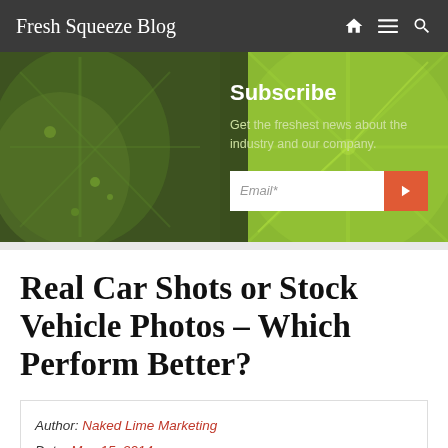Fresh Squeeze Blog
[Figure (screenshot): Subscribe banner with green lime background, showing a subscription form with Email* input and orange submit button, text: Subscribe - Get the freshest news about the industry and our company.]
Real Car Shots or Stock Vehicle Photos – Which Perform Better?
Author: Naked Lime Marketing
Date: May 15, 2014